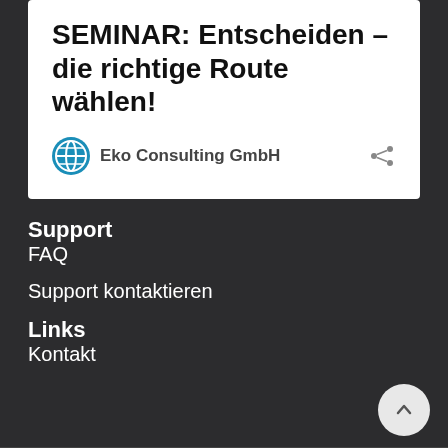SEMINAR: Entscheiden – die richtige Route wählen!
Eko Consulting GmbH
Support
FAQ
Support kontaktieren
Links
Kontakt